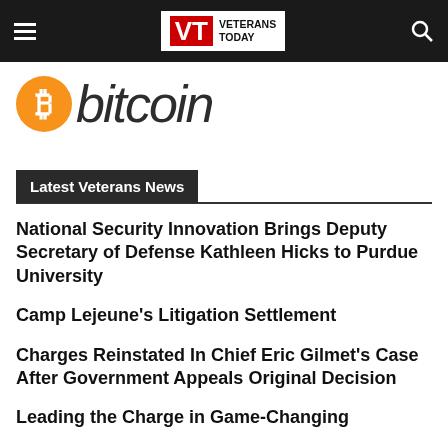Veterans Today
[Figure (logo): Bitcoin logo with orange circle and B symbol, followed by italic 'bitcoin' text in dark gray]
Latest Veterans News
National Security Innovation Brings Deputy Secretary of Defense Kathleen Hicks to Purdue University
Camp Lejeune’s Litigation Settlement
Charges Reinstated In Chief Eric Gilmet’s Case After Government Appeals Original Decision
Leading the Charge in Game-Changing